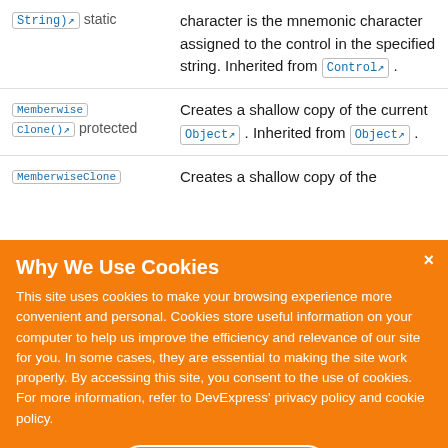| Method | Description |
| --- | --- |
| String)↗  static | character is the mnemonic character assigned to the control in the specified string. Inherited from Control↗ . |
| MemberwiseClone()↗  protected | Creates a shallow copy of the current Object↗ . Inherited from Object↗ . |
| MemberwiseClone | Creates a shallow copy of the |
[Figure (screenshot): Cookie consent overlay in orange: 'Why We Use Cookies' with explanatory text and an 'I UNDERSTAND' button. Has a close (×) button in top-right corner.]